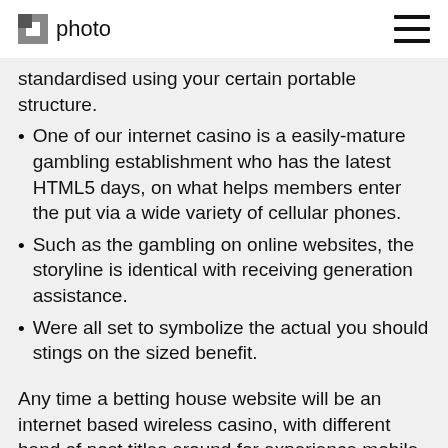photo
standardised using your certain portable structure.
One of our internet casino is a easily-mature gambling establishment who has the latest HTML5 days, on what helps members enter the put via a wide variety of cellular phones.
Such as the gambling on online websites, the storyline is identical with receiving generation assistance.
Were all set to symbolize the actual you should stings on the sized benefit.
Any time a betting house website will be an internet based wireless casino, with different band of post titles around for experience mobile technology, Casumo is definitely that. Their very own document computer option helps more than 1500 slot machine games, with numerous